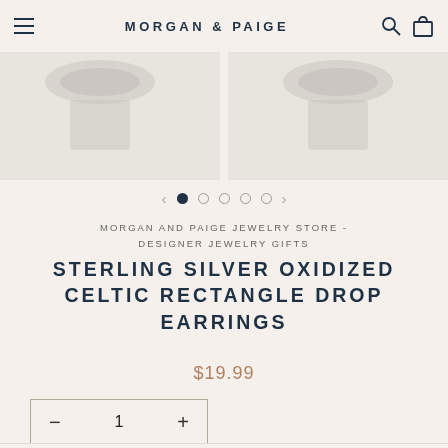MORGAN & PAIGE
[Figure (photo): Partial product images of sterling silver Celtic rectangle drop earrings shown on a model, two images side by side, cropped view showing lower portion]
MORGAN AND PAIGE JEWELRY STORE - DESIGNER JEWELRY GIFTS
STERLING SILVER OXIDIZED CELTIC RECTANGLE DROP EARRINGS
$19.99
— 1 +